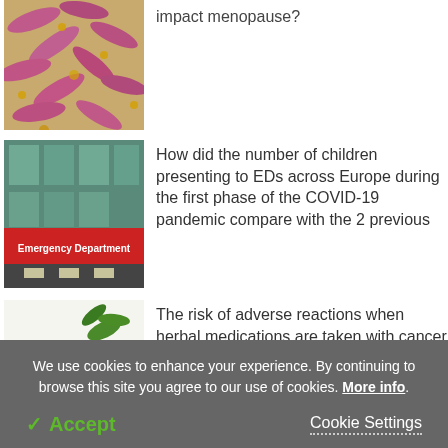[Figure (photo): Microscopic image of pink/purple rod-shaped bacteria on a yellow-tan surface]
impact menopause?
[Figure (photo): Photo of an Emergency Department building exterior with red sign reading 'Emergency Department']
How did the number of children presenting to EDs across Europe during the first phase of the COVID-19 pandemic compare with the 2 previous
[Figure (photo): Photo of herbal medicines: wooden spoon, green leaves, white flower and pills on white background]
The risk of adverse reactions when herbal medications are taken with cancer drugs
We use cookies to enhance your experience. By continuing to browse this site you agree to our use of cookies. More info.
✓ Accept
Cookie Settings